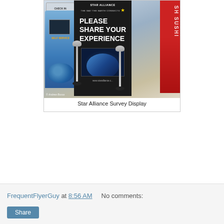[Figure (photo): Airport check-in area showing a blue self-service kiosk on the left with 'CHECK IN HERE' sign, a black Star Alliance banner in the center reading 'PLEASE SHARE YOUR EXPERIENCE' with survey feedback stands on poles, and a Sushi bar visible on the right. Photo credit: © Andrew Bussa]
Star Alliance Survey Display
FrequentFlyerGuy at 8:56 AM     No comments:
Share